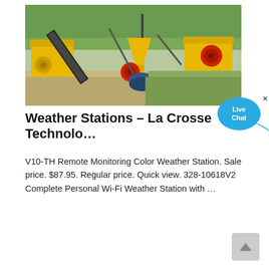[Figure (photo): Outdoor photo of yellow industrial mining/crushing machinery equipment on a dirt ground with green trees in the background]
Weather Stations – La Crosse Technology
V10-TH Remote Monitoring Color Weather Station. Sale price. $87.95. Regular price. Quick view. 328-10618V2 Complete Personal Wi-Fi Weather Station with …